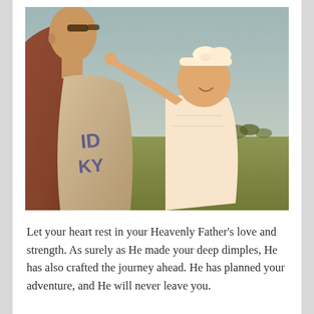[Figure (photo): A man wearing sunglasses and a jersey holds a baby girl dressed in white with a white bow headband. The baby is reaching up toward the man's face. They are outdoors on a sunny day with green grass and blue sky in the background. The photo has a vintage warm filter applied.]
Let your heart rest in your Heavenly Father's love and strength. As surely as He made your deep dimples, He has also crafted the journey ahead. He has planned your adventure, and He will never leave you.